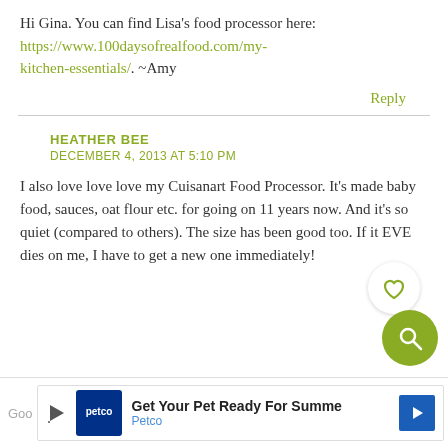Hi Gina. You can find Lisa's food processor here: https://www.100daysofrealfood.com/my-kitchen-essentials/. ~Amy
Reply
HEATHER BEE
DECEMBER 4, 2013 AT 5:10 PM
I also love love love my Cuisanart Food Processor. It's made baby food, sauces, oat flour etc. for going on 11 years now. And it's so quiet (compared to others). The size has been good too. If it EVE dies on me, I have to get a new one immediately!
[Figure (other): Heart icon button (white circle with heart outline)]
[Figure (other): Search icon button (olive green circle with magnifying glass)]
[Figure (other): Petco advertisement banner: Get Your Pet Ready For Summe - Petco, with logo and arrow icon]